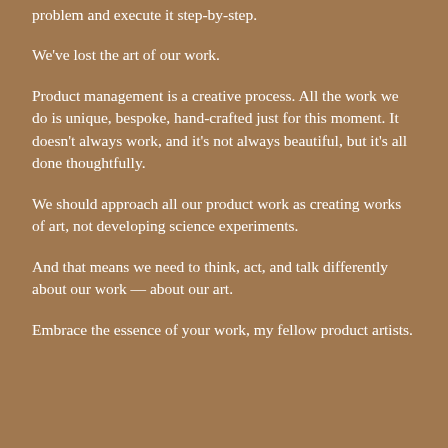problem and execute it step-by-step.
We've lost the art of our work.
Product management is a creative process. All the work we do is unique, bespoke, hand-crafted just for this moment. It doesn't always work, and it's not always beautiful, but it's all done thoughtfully.
We should approach all our product work as creating works of art, not developing science experiments.
And that means we need to think, act, and talk differently about our work — about our art.
Embrace the essence of your work, my fellow product artists.